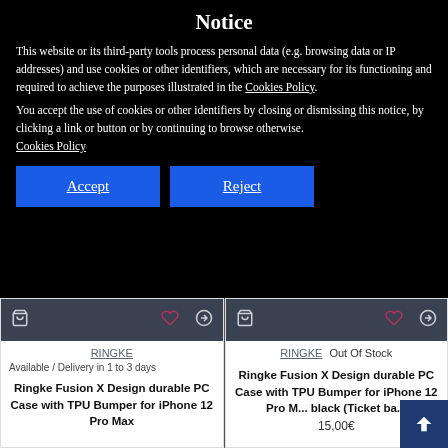Notice
This website or its third-party tools process personal data (e.g. browsing data or IP addresses) and use cookies or other identifiers, which are necessary for its functioning and required to achieve the purposes illustrated in the Cookies Policy.
You accept the use of cookies or other identifiers by closing or dismissing this notice, by clicking a link or button or by continuing to browse otherwise. Cookies Policy
Accept | Reject
[Figure (screenshot): Two product cards for Ringke Fusion X Design durable PC Case with TPU Bumper for iPhone 12 Pro Max. Left card shows Available / Delivery in 1 to 3 days. Right card shows Out Of Stock. Each card has a dark header with cart, heart, and compare icons. A dark blue back-to-top button is visible in the bottom right.]